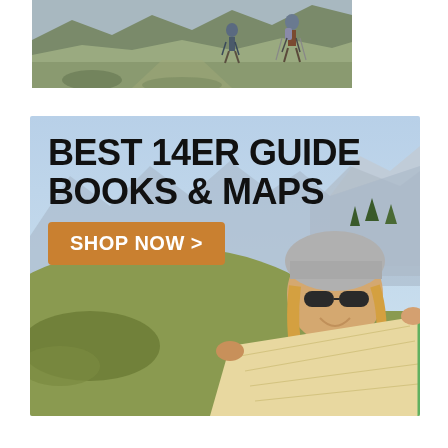[Figure (photo): Two hikers with trekking poles and backpacks walking along a mountain trail with rocky alpine terrain and green vegetation]
[Figure (infographic): Advertisement banner with mountain and map background showing a smiling woman with sunglasses and knit hat holding a map. Text reads 'BEST 14ER GUIDE BOOKS & MAPS' with an orange 'SHOP NOW >' button]